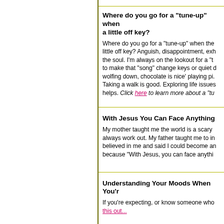Where do you go for a "tune-up" when you're a little off key?
Where do you go for a "tune-up" when the song is a little off key? Anguish, disappointment, exhaustion of the soul. I'm always on the lookout for a "tune-up" to make that "song" change keys or quiet down. Like wolfing down, chocolate is nice' playing piano helps. Taking a walk is good. Exploring life issues helps. Click here to learn more about a "tu...
With Jesus You Can Face Anything
My mother taught me the world is a scary place, but always work out. My father taught me to imagine. He believed in me and said I could become anything because "With Jesus, you can face anythi...
Understanding Your Moods When You'r...
If you're expecting, or know someone who... this out...